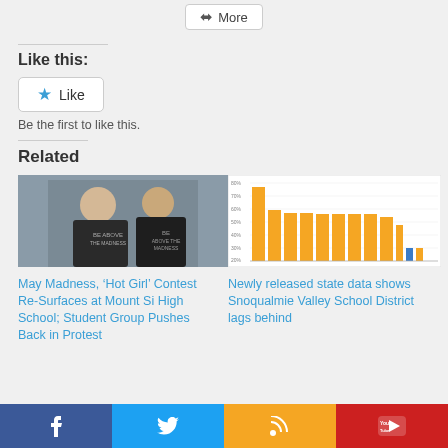More
Like this:
Like
Be the first to like this.
Related
[Figure (photo): Two teens wearing dark t-shirts with text 'Be Above the Madness']
May Madness, ‘Hot Girl’ Contest Re-Surfaces at Mount Si High School; Student Group Pushes Back in Protest
[Figure (bar-chart): Newly released state data shows Snoqualmie Valley School District lags behind]
Newly released state data shows Snoqualmie Valley School District lags behind
Facebook | Twitter | RSS | YouTube